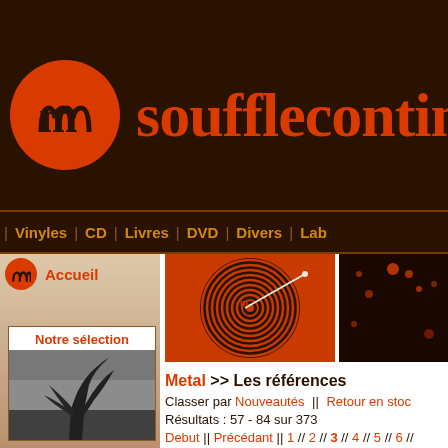soufflecontinuu (header with logo)
| Vinyles | CD | Livres | DVD | Divers | Lab
Accueil
[Figure (illustration): Orange spiral/vinyl record graphic on dark brown background]
[Figure (photo): Abstract reddish-orange image on dark background]
Notre sélection
[Figure (photo): Black and white landscape photo with tree in wind]
Metal >> Les références
Classer par Nouveautés || Retour en stoc
Résultats : 57 - 84 sur 373
Debut || Précédant || 1 // 2 // 3 // 4 // 5 // 6 //